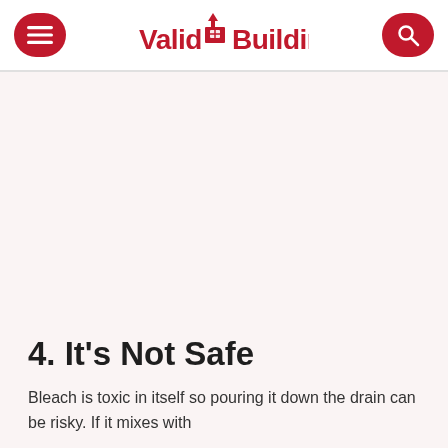Valid Building
4. It's Not Safe
Bleach is toxic in itself so pouring it down the drain can be risky. If it mixes with